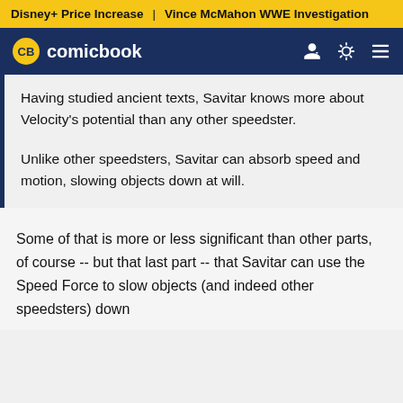Disney+ Price Increase | Vince McMahon WWE Investigation
CB comicbook
Having studied ancient texts, Savitar knows more about Velocity's potential than any other speedster.
Unlike other speedsters, Savitar can absorb speed and motion, slowing objects down at will.
Some of that is more or less significant than other parts, of course -- but that last part -- that Savitar can use the Speed Force to slow objects (and indeed other speedsters) down